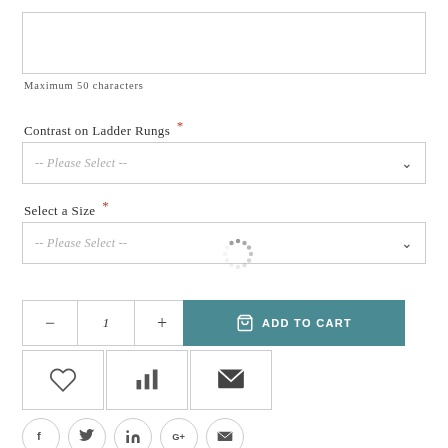(text input box)
Maximum 50 characters
Contrast on Ladder Rungs *
-- Please Select --
Select a Size *
-- Please Select --
[Figure (infographic): Loading spinner graphic]
- 1 + ADD TO CART
[Figure (infographic): Heart icon, bar chart icon, envelope icon buttons]
[Figure (infographic): Social share buttons: Facebook, Twitter, LinkedIn, Google+, Email]